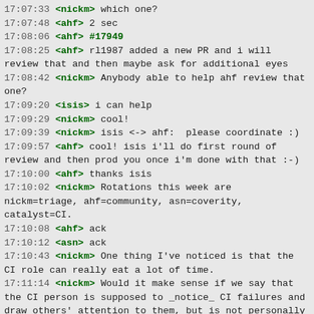17:07:33 <nickm> which one?
17:07:48 <ahf> 2 sec
17:08:06 <ahf> #17949
17:08:25 <ahf> rl1987 added a new PR and i will review that and then maybe ask for additional eyes
17:08:42 <nickm> Anybody able to help ahf review that one?
17:09:20 <isis> i can help
17:09:29 <nickm> cool!
17:09:39 <nickm> isis <-> ahf:  please coordinate :)
17:09:57 <ahf> cool! isis i'll do first round of review and then prod you once i'm done with that :-)
17:10:00 <ahf> thanks isis
17:10:02 <nickm> Rotations this week are nickm=triage, ahf=community, asn=coverity, catalyst=CI.
17:10:08 <ahf> ack
17:10:12 <asn> ack
17:10:43 <nickm> One thing I've noticed is that the CI role can really eat a lot of time.
17:11:14 <nickm> Would it make sense if we say that the CI person is supposed to _notice_ CI failures and draw others' attention to them, but is not personally responsible for fixing every bug that CI detects on their own?
17:11:18 * arma4 finishes looking at backlog
17:11:41 <isis> ahf: sounds good!
17:12:09 <catalyst> nickm: sounds reasonable
17:12:36 <nickm> catalyst: ok. I'll add that to the wiki :)
17:12:59 <catalyst> also i'd like us to keep in mind